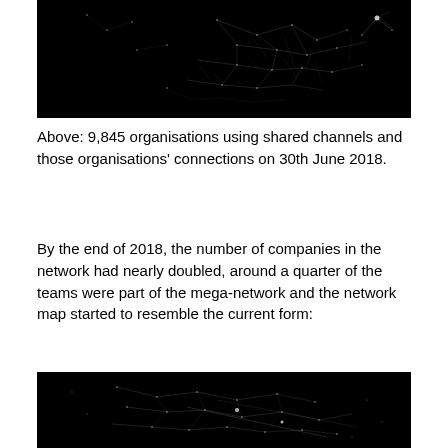[Figure (network-graph): Network graph showing 9,845 organisations using shared channels and their connections on 30th June 2018. White nodes and edges on black background, forming a dense cluster with scattered connections.]
Above: 9,845 organisations using shared channels and those organisations' connections on 30th June 2018.
By the end of 2018, the number of companies in the network had nearly doubled, around a quarter of the teams were part of the mega-network and the network map started to resemble the current form:
[Figure (network-graph): Network graph showing the expanded network by end of 2018. White nodes and edges on black background, showing a larger more connected mega-network structure.]